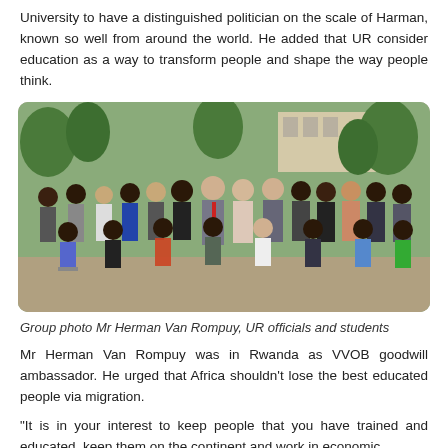University to have a distinguished politician on the scale of Harman, known so well from around the world. He added that UR consider education as a way to transform people and shape the way people think.
[Figure (photo): Group photo of Mr Herman Van Rompuy with UR officials and students, taken outdoors with trees and a building in the background.]
Group photo Mr Herman Van Rompuy, UR officials and students
Mr Herman Van Rompuy was in Rwanda as VVOB goodwill ambassador. He urged that Africa shouldn't lose the best educated people via migration.
"It is in your interest to keep people that you have trained and educated, keep them on the continent and work in economic